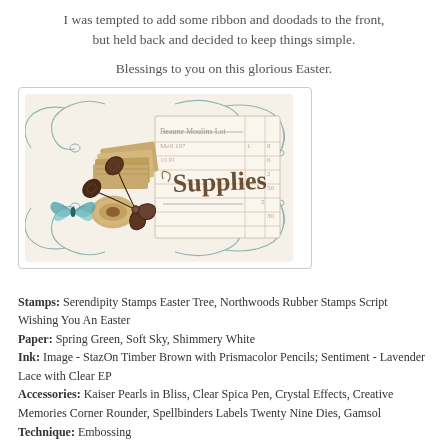I was tempted to add some ribbon and doodads to the front, but held back and decided to keep things simple.
Blessings to you on this glorious Easter.
[Figure (illustration): A vintage-style 'Supplies' decorative image with scissors, old books, twine spool, butterfly, and an ornate teal scrollwork border around a ledger-style card labeled 'Supplies'.]
Stamps: Serendipity Stamps Easter Tree, Northwoods Rubber Stamps Script Wishing You An Easter
Paper: Spring Green, Soft Sky, Shimmery White
Ink: Image - StazOn Timber Brown with Prismacolor Pencils; Sentiment - Lavender Lace with Clear EP
Accessories: Kaiser Pearls in Bliss, Clear Spica Pen, Crystal Effects, Creative Memories Corner Rounder, Spellbinders Labels Twenty Nine Dies, Gamsol
Technique: Embossing